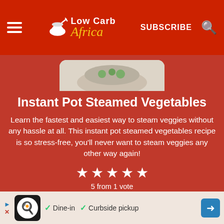Low Carb Africa
[Figure (photo): Photo of steamed vegetables in a bowl, partially visible at top]
Instant Pot Steamed Vegetables
Learn the fastest and easiest way to steam veggies without any hassle at all. This instant pot steamed vegetables recipe is so stress-free, you'll never want to steam veggies any other way again!
5 from 1 vote
Print  Pin
[Figure (infographic): Advertisement bar: Dine-in and Curbside pickup options]